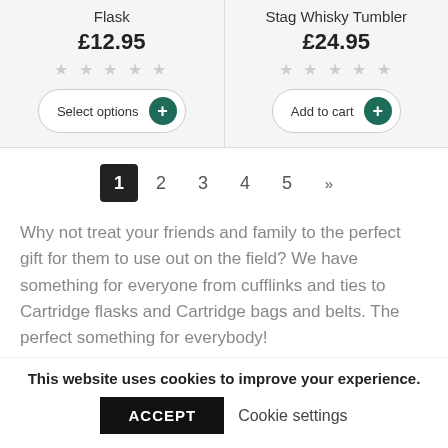Flask
£12.95
★ ★ ★ ★ ★
Select options
Stag Whisky Tumbler
£24.95
★ ★ ★ ★ ★
Add to cart
1  2  3  4  5  »
Why not treat your friends and family to the perfect gift for them to use out on the field? We have something for everyone from cufflinks and ties to Cartridge flasks and Cartridge bags and belts. The perfect something for everybody!
This website uses cookies to improve your experience.
ACCEPT
Cookie settings